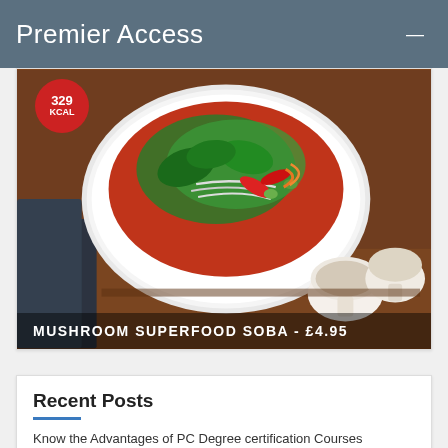Premier Access
[Figure (photo): A white bowl of Mushroom Superfood Soba noodle dish with vegetables on a wooden board, with mushrooms beside it. A red circular KCAL badge is partially visible in top left. Text overlay reads: MUSHROOM SUPERFOOD SOBA - £4.95]
Recent Posts
Know the Advantages of PC Degree certification Courses